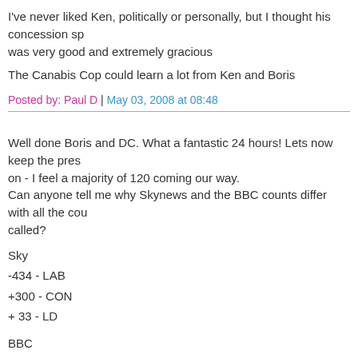I've never liked Ken, politically or personally, but I thought his concession speech was very good and extremely gracious
The Canabis Cop could learn a lot from Ken and Boris
Posted by: Paul D | May 03, 2008 at 08:48
Well done Boris and DC. What a fantastic 24 hours! Lets now keep the pressure on - I feel a majority of 120 coming our way.
Can anyone tell me why Skynews and the BBC counts differ with all the counts called?
Sky
-434 - LAB
+300 - CON
+ 33 - LD
BBC
-331 - LAB
+256 - CON
+ 34 - LD
Posted by: Robbie | May 03, 2008 at 08:55